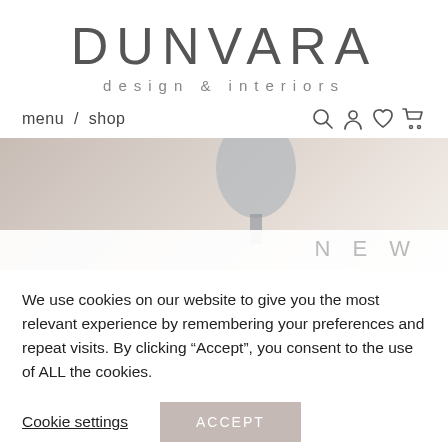DUNVARA design & interiors
menu / shop
[Figure (photo): Hero image of a lamp/interior design scene with beige and warm gray tones, with a white bar at the bottom showing partial text 'NEW']
We use cookies on our website to give you the most relevant experience by remembering your preferences and repeat visits. By clicking “Accept”, you consent to the use of ALL the cookies.
Cookie settings   ACCEPT